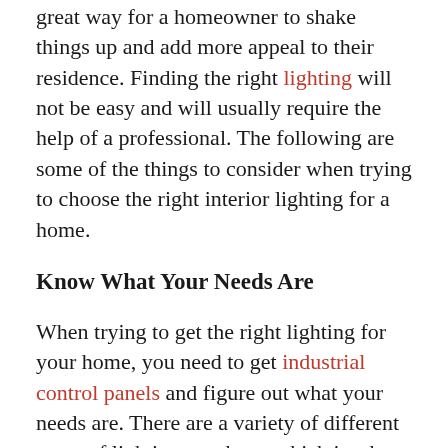great way for a homeowner to shake things up and add more appeal to their residence. Finding the right lighting will not be easy and will usually require the help of a professional. The following are some of the things to consider when trying to choose the right interior lighting for a home.
Know What Your Needs Are
When trying to get the right lighting for your home, you need to get industrial control panels and figure out what your needs are. There are a variety of different types of lighting out there, which is why you will need to take stock of what your home is in need of. If you are looking for more directional lighting, then recesses fixtures are a great option. The lighting professionals will be able